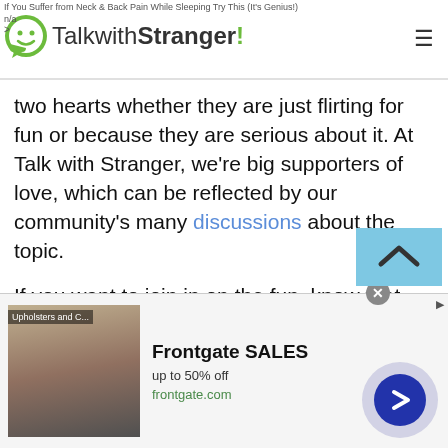TalkwithStranger!
If You Suffer from Neck & Back Pain While Sleeping Try This (It's Genius!) n/a >
two hearts whether they are just flirting for fun or because they are serious about it. At Talk with Stranger, we're big supporters of love, which can be reflected by our community's many discussions about the topic.

If you want to join in on the fun, know that you're always welcome. To become a part of our chat site to talk about all things related to flirting, you can either make an account or you can use it as an unregistered user. The second option will limit some features for you, but you will be able to enjoy conversations without the hassle of logging in.
[Figure (screenshot): Advertisement banner for Frontgate SALES showing outdoor furniture image, text 'Frontgate SALES up to 50% off frontgate.com', close button, and navigation arrow button]